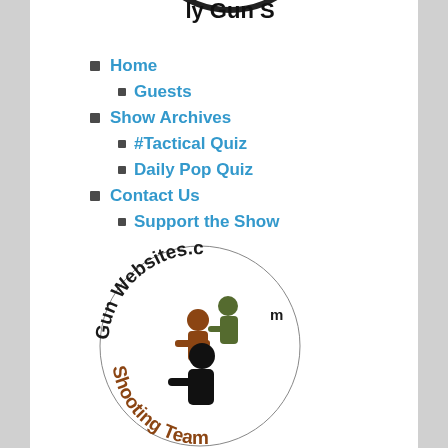[Figure (logo): Partial logo at top — circular black and white gun show logo, partially cropped]
Home
Guests
Show Archives
#Tactical Quiz
Daily Pop Quiz
Contact Us
Support the Show
[Figure (logo): Gun Websites.com Shooting Team circular logo with silhouettes of shooters in colors black, brown, and green]
[Figure (illustration): Row of social media icons: podcast, video camera, green circle, Instagram, YouTube, GunTV]
Check Out these 2A Resources: